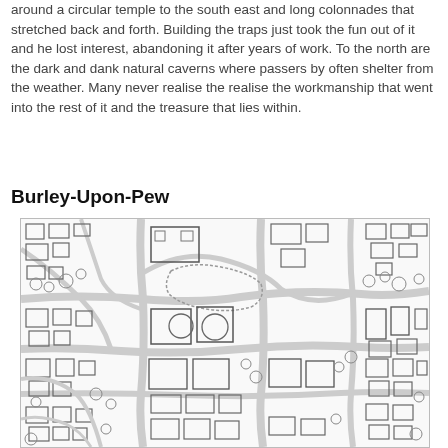around a circular temple to the south east and long colonnades that stretched back and forth. Building the traps just took the fun out of it and he lost interest, abandoning it after years of work. To the north are the dark and dank natural caverns where passers by often shelter from the weather. Many never realise the realise the workmanship that went into the rest of it and the treasure that lies within.
Burley-Upon-Pew
[Figure (map): A detailed black and white top-down map of a town or settlement called Burley-Upon-Pew, showing buildings, roads, trees, courtyards, and other urban features in a hand-drawn style.]